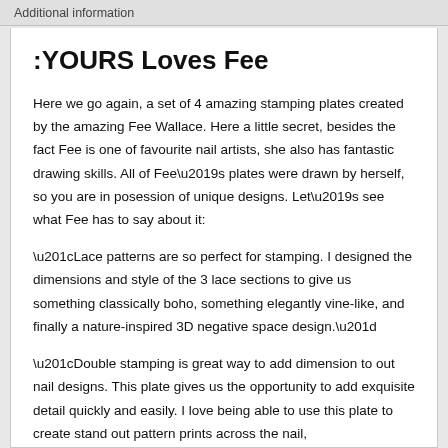Additional information
:YOURS Loves Fee
Here we go again, a set of 4 amazing stamping plates created by the amazing Fee Wallace. Here a little secret, besides the fact Fee is one of favourite nail artists, she also has fantastic drawing skills. All of Fee’s plates were drawn by herself, so you are in posession of unique designs. Let’s see what Fee has to say about it:
“Lace patterns are so perfect for stamping. I designed the dimensions and style of the 3 lace sections to give us something classically boho, something elegantly vine-like, and finally a nature-inspired 3D negative space design.”
“Double stamping is great way to add dimension to out nail designs. This plate gives us the opportunity to add exquisite detail quickly and easily. I love being able to use this plate to create stand out pattern prints across the nail,